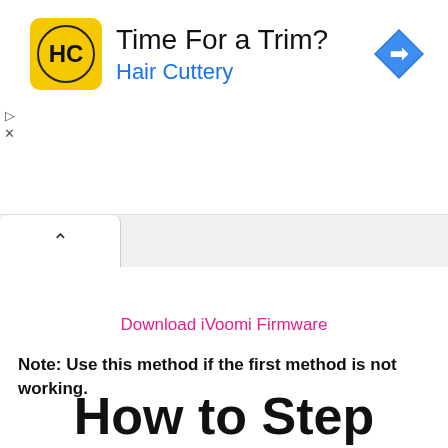[Figure (screenshot): Advertisement banner for Hair Cuttery with logo, title 'Time For a Trim?', subtitle 'Hair Cuttery' in blue, and a blue diamond navigation icon on the right. Small play and X controls on the left edge.]
Download iVoomi Firmware
Note: Use this method if the first method is not working.
How to Step Method